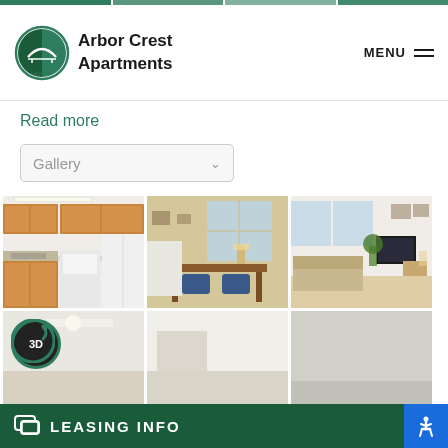[Figure (screenshot): Top navigation bar with colored segments]
[Figure (logo): Landmark Property Services Inc logo - circular green logo with bridge/arch motif]
Arbor Crest Apartments
MENU
Read more
Gallery
[Figure (photo): Kitchen interior with wooden cabinets, white appliances, and countertops]
[Figure (photo): Office or leasing area with desk, chairs, and windows]
[Figure (photo): Living room with sofas, TV, and plants]
[Figure (photo): Room interior with 3D tour badge overlay]
[Figure (photo): Partial view of another room]
LEASING INFO